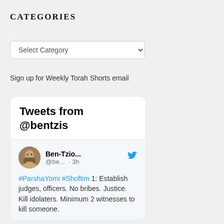CATEGORIES
[Figure (screenshot): Dropdown select widget labeled 'Select Category' with a chevron arrow]
Sign up for Weekly Torah Shorts email
[Figure (screenshot): Twitter widget showing 'Tweets from @bentzis' with a tweet from Ben-Tzio... @be... 3h: #ParshaYomi #Shoftim 1: Establish judges, officers. No bribes. Justice. Kill idolaters. Minimum 2 witnesses to kill someone.]